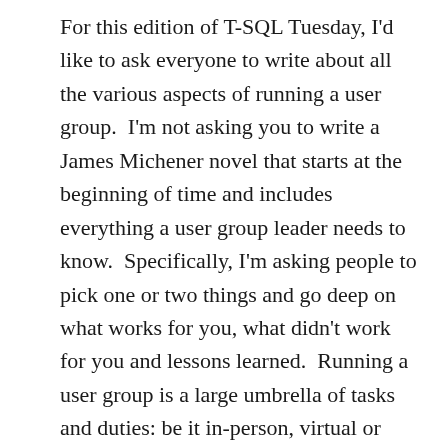For this edition of T-SQL Tuesday, I'd like to ask everyone to write about all the various aspects of running a user group.  I'm not asking you to write a James Michener novel that starts at the beginning of time and includes everything a user group leader needs to know.  Specifically, I'm asking people to pick one or two things and go deep on what works for you, what didn't work for you and lessons learned.  Running a user group is a large umbrella of tasks and duties: be it in-person, virtual or hybrid.  My goal this month is to break that up into small bite sized pieces of knowledge for people.  There are so many directions you can go here: finding speakers, growing your membership, utilizing technology to make